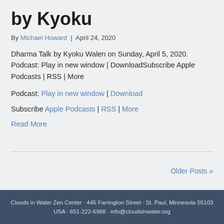by Kyoku
By Michael Howard | April 24, 2020
Dharma Talk by Kyoku Walen on Sunday, April 5, 2020. Podcast: Play in new window | DownloadSubscribe Apple Podcasts | RSS | More
Podcast: Play in new window | Download
Subscribe Apple Podcasts | RSS | More
Read More
Older Posts »
Clouds in Water Zen Center · 445 Farrington Street · St. Paul, Minnesota 55103 USA · 651-222-6968 · info@cloudsinwater.org